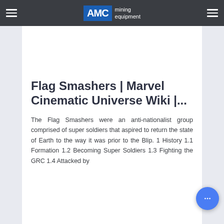AMC mining equipment
Flag Smashers | Marvel Cinematic Universe Wiki |...
The Flag Smashers were an anti-nationalist group comprised of super soldiers that aspired to return the state of Earth to the way it was prior to the Blip. 1 History 1.1 Formation 1.2 Becoming Super Soldiers 1.3 Fighting the GRC 1.4 Attacked by